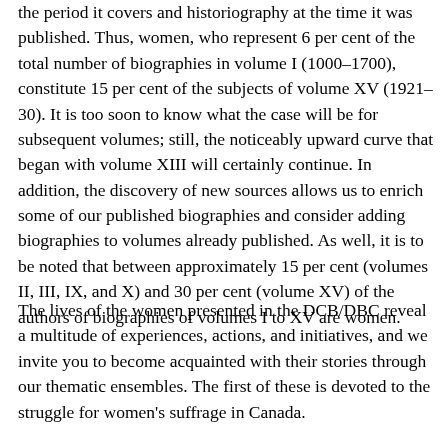the period it covers and historiography at the time it was published. Thus, women, who represent 6 per cent of the total number of biographies in volume I (1000–1700), constitute 15 per cent of the subjects of volume XV (1921–30). It is too soon to know what the case will be for subsequent volumes; still, the noticeably upward curve that began with volume XIII will certainly continue. In addition, the discovery of new sources allows us to enrich some of our published biographies and consider adding biographies to volumes already published. As well, it is to be noted that between approximately 15 per cent (volumes II, III, IX, and X) and 30 per cent (volume XV) of the authors of biographies of volumes I to XV are women.
The lives of the women presented in the DCB/DBC reveal a multitude of experiences, actions, and initiatives, and we invite you to become acquainted with their stories through our thematic ensembles. The first of these is devoted to the struggle for women's suffrage in Canada.